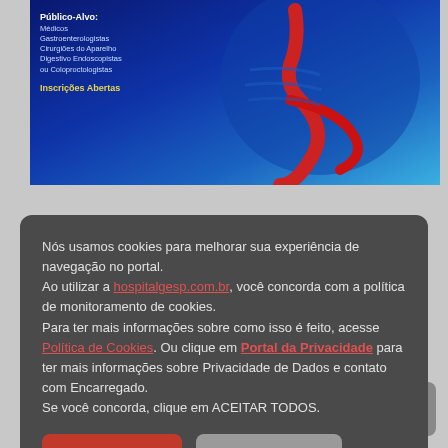[Figure (illustration): Medical banner showing a blue anatomical illustration of the human digestive tract with text overlay listing target audience (Médicos, Gastroenterologistas, Cirurgiões do Aparelho Digestivo Endoscopistas ou Coloproctologistas) and 'Inscrições Abertas' in yellow.]
Cursos de Manometria Anorretal e Esofágica 1.18 Semestre 2019
Nós usamos cookies para melhorar sua experiência de navegação no portal. Ao utilizar a hospitalgesp.com.br, você concorda com a política de monitoramento de cookies. Para ter mais informações sobre como isso é feito, acesse Política de Cookies. Ou clique em Portal da Privacidade para ter mais informações sobre Privacidade de Dados e contato com Encarregado. Se você concorda, clique em ACEITAR TODOS.
Aceitar todos
Recusar todos